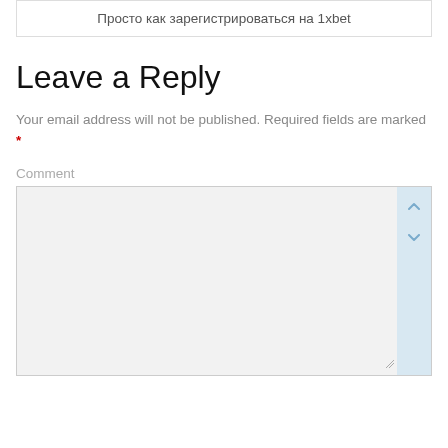Просто как зарегистрироваться на 1xbet
Leave a Reply
Your email address will not be published. Required fields are marked *
Comment
[Figure (screenshot): Empty comment textarea input box with scrollbar on the right side and resize handle at bottom right]